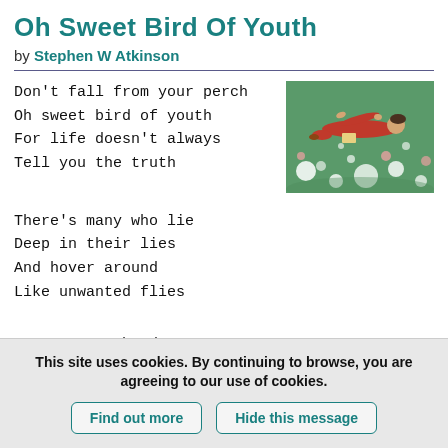Oh Sweet Bird Of Youth
by Stephen W Atkinson
Don't fall from your perch
Oh sweet bird of youth
For life doesn't always
Tell you the truth
[Figure (illustration): Illustration of a girl in a red dress lying on a green field with white and pink flowers/circles]
There's many who lie
Deep in their lies
And hover around
Like unwanted flies
But, pay no heed
Oh sweet bird of youth
This site uses cookies. By continuing to browse, you are agreeing to our use of cookies.
Find out more
Hide this message